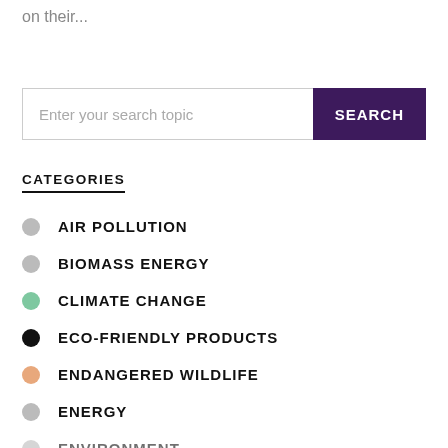on their...
[Figure (other): Search bar with placeholder text 'Enter your search topic' and a dark purple SEARCH button]
CATEGORIES
AIR POLLUTION
BIOMASS ENERGY
CLIMATE CHANGE
ECO-FRIENDLY PRODUCTS
ENDANGERED WILDLIFE
ENERGY
ENVIRONMENT